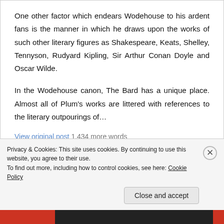One other factor which endears Wodehouse to his ardent fans is the manner in which he draws upon the works of such other literary figures as Shakespeare, Keats, Shelley, Tennyson, Rudyard Kipling, Sir Arthur Conan Doyle and Oscar Wilde.
In the Wodehouse canon, The Bard has a unique place. Almost all of Plum's works are littered with references to the literary outpourings of…
View original post 1,434 more words
Privacy & Cookies: This site uses cookies. By continuing to use this website, you agree to their use.
To find out more, including how to control cookies, see here: Cookie Policy